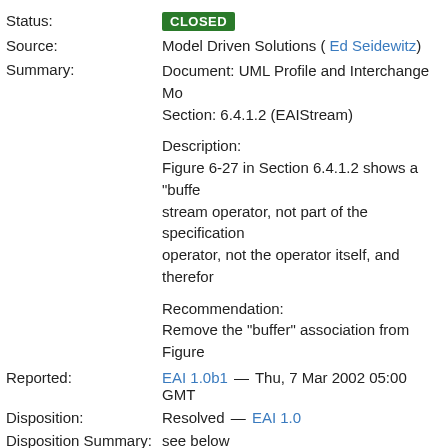Status: CLOSED
Source: Model Driven Solutions ( Ed Seidewitz)
Summary: Document: UML Profile and Interchange Mo... Section: 6.4.1.2 (EAIStream)

Description:
Figure 6-27 in Section 6.4.1.2 shows a "buffe... stream operator, not part of the specification... operator, not the operator itself, and therefor...

Recommendation:
Remove the "buffer" association from Figure...
Reported: EAI 1.0b1 — Thu, 7 Mar 2002 05:00 GMT
Disposition: Resolved — EAI 1.0
Disposition Summary: see below
Updated: Fri, 6 Mar 2015 20:58 GMT
Missing multiplicity for the "emissionCondition" o...